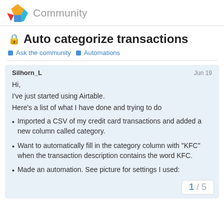Community
🔒 Auto categorize transactions
Ask the community   Automations
Silhorn_L   Jun 19
Hi,
I've just started using Airtable.
Here's a list of what I have done and trying to do
Imported a CSV of my credit card transactions and added a new column called category.
Want to automatically fill in the category column with "KFC" when the transaction description contains the word KFC.
Made an automation. See picture for settings I used:
1 / 5